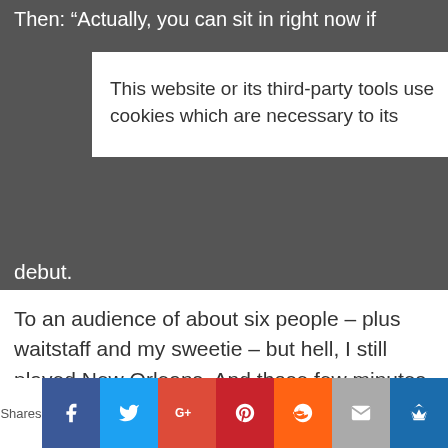Then: “Actually, you can sit in right now if
This website or its third-party tools use cookies which are necessary to its
debut.
To an audience of about six people – plus waitstaff and my sweetie – but hell, I still played New Orleans. And those few minutes are one of my best memories of my first visit there.
All because I took a risk.
[Figure (other): Social sharing bar with Facebook, Twitter, Google+, Pinterest, Reddit, Email, and King icons. Shares label on left.]